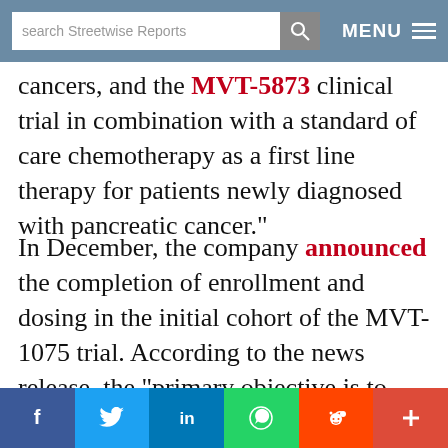search Streetwise Reports | MENU
cancers, and the MVT-5873 clinical trial in combination with a standard of care chemotherapy as a first line therapy for patients newly diagnosed with pancreatic cancer."
In December, the company announced the completion of enrollment and dosing in the initial cohort of the MVT-1075 trial. According to the news release, the "primary objective is to determine the maximum tolerated dose and safety profile in patients with recurring disease who have failed prior therapies.
f | twitter | in | whatsapp | reddit | +